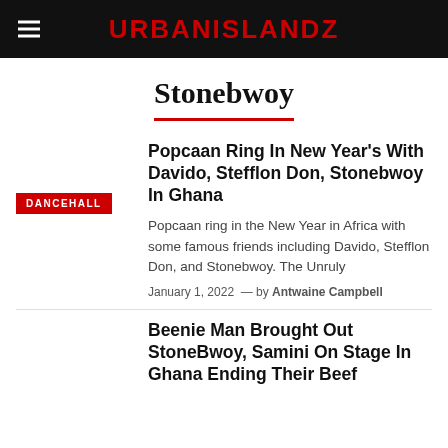URBANISLANDZ
Stonebwoy
Popcaan Ring In New Year's With Davido, Stefflon Don, Stonebwoy In Ghana
Popcaan ring in the New Year in Africa with some famous friends including Davido, Stefflon Don, and Stonebwoy. The Unruly
January 1, 2022  —  by Antwaine Campbell
Beenie Man Brought Out StoneBwoy, Samini On Stage In Ghana Ending Their Beef